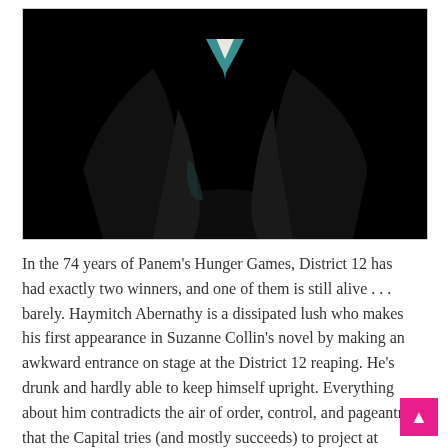[Figure (photo): Dark dramatic photo of a person in a dark suit/tuxedo with a teal/turquoise collar or shirt visible, shot against a black background. Only the torso and lower neck/chin area are visible.]
In the 74 years of Panem's Hunger Games, District 12 has had exactly two winners, and one of them is still alive . . . barely. Haymitch Abernathy is a dissipated lush who makes his first appearance in Suzanne Collin's novel by making an awkward entrance on stage at the District 12 reaping. He's drunk and hardly able to keep himself upright. Everything about him contradicts the air of order, control, and pageantry that the Capital tries (and mostly succeeds) to project at Hunger Games events. He is